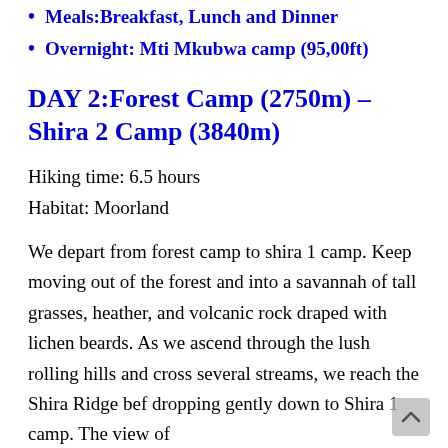Meals:Breakfast, Lunch and Dinner
Overnight: Mti Mkubwa camp (95,00ft)
DAY 2:Forest Camp (2750m) – Shira 2 Camp (3840m)
Hiking time: 6.5 hours
Habitat: Moorland
We depart from forest camp to shira 1 camp. Keep moving out of the forest and into a savannah of tall grasses, heather, and volcanic rock draped with lichen beards. As we ascend through the lush rolling hills and cross several streams, we reach the Shira Ridge bef dropping gently down to Shira 1 camp. The view of